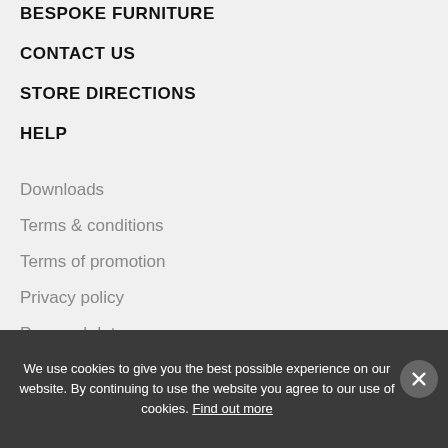BESPOKE FURNITURE
CONTACT US
STORE DIRECTIONS
HELP
Downloads
Terms & conditions
Terms of promotion
Privacy policy
Personal data
Site map
Site search
We use cookies to give you the best possible experience on our website. By continuing to use the website you agree to our use of cookies. Find out more